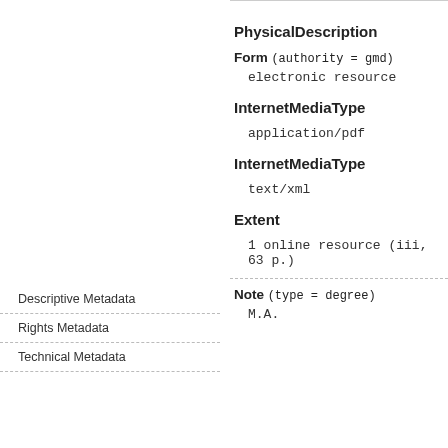PhysicalDescription
Form (authority = gmd)
electronic resource
InternetMediaType
application/pdf
InternetMediaType
text/xml
Extent
1 online resource (iii, 63 p.)
Note (type = degree)
M.A.
Descriptive Metadata
Rights Metadata
Technical Metadata